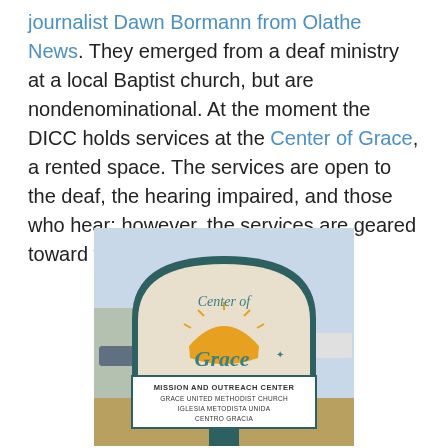journalist Dawn Bormann from Olathe News. They emerged from a deaf ministry at a local Baptist church, but are nondenominational. At the moment the DICC holds services at the Center of Grace, a rented space. The services are open to the deaf, the hearing impaired, and those who hear; however, the services are geared toward the deaf community.
[Figure (photo): Outdoor sign for Center of Grace, showing an arch-shaped beige sign with teal border, featuring a sun logo and 'Center of Grace' text in teal cursive, and a lower panel reading 'MISSION AND OUTREACH CENTER / GRACE UNITED METHODIST CHURCH / IGLESIA METODISTA UNIDA / CENTRO GRACIA']